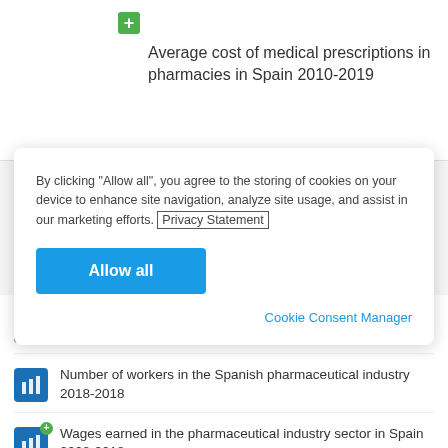Average cost of medical prescriptions in pharmacies in Spain 2010-2019
By clicking “Allow all”, you agree to the storing of cookies on your device to enhance site navigation, analyze site usage, and assist in our marketing efforts. Privacy Statement
Allow all
Cookie Consent Manager
Turnover of the manufacture of pharmaceutical products in Spain 2009-2020
Number of workers in the Spanish pharmaceutical industry 2018-2018
Wages earned in the pharmaceutical industry sector in Spain 2008-2018